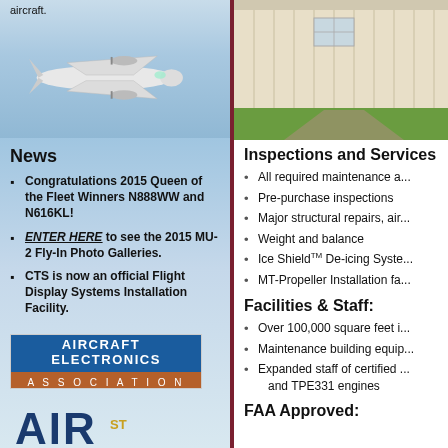aircraft.
[Figure (photo): Photo of a twin-engine propeller aircraft in flight against a blue sky background]
News
Congratulations 2015 Queen of the Fleet Winners N888WW and N616KL!
ENTER HERE to see the 2015 MU-2 Fly-In Photo Galleries.
CTS is now an official Flight Display Systems Installation Facility.
[Figure (logo): Aircraft Electronics Association logo — blue top bar with 'AIRCRAFT ELECTRONICS' text, brown bottom bar with 'ASSOCIATION' text]
[Figure (logo): AIR logo partial view at bottom of left column]
[Figure (photo): Photo of a maintenance building/hangar with green grass and pathway]
Inspections and Services
All required maintenance a...
Pre-purchase inspections
Major structural repairs, air...
Weight and balance
Ice Shield™ De-icing Syste...
MT-Propeller Installation fa...
Facilities & Staff:
Over 100,000 square feet i...
Maintenance building equip...
Expanded staff of certified ... and TPE331 engines
FAA Approved: